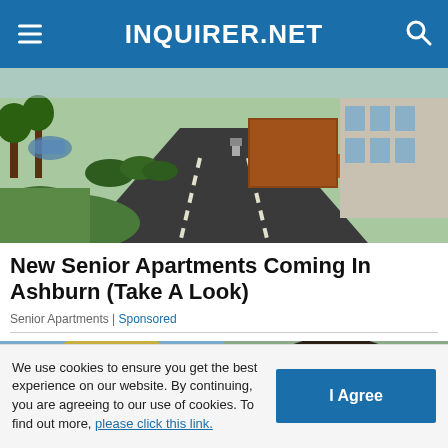INQUIRER.NET
[Figure (photo): Aerial view of a suburban apartment complex driveway with landscaping, brick building and hedges visible.]
New Senior Apartments Coming In Ashburn (Take A Look)
Senior Apartments | Sponsored
[Figure (photo): Two people headshots side by side, a blonde woman on the left and a man on the right.]
We use cookies to ensure you get the best experience on our website. By continuing, you are agreeing to our use of cookies. To find out more, please click this link.